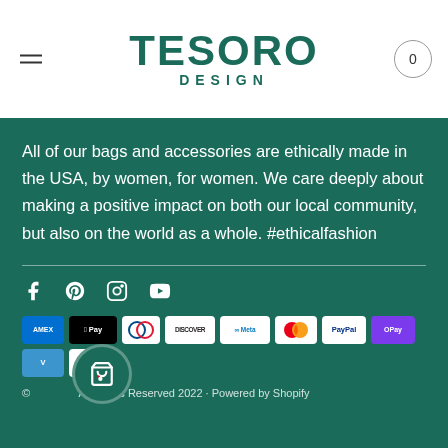[Figure (logo): Tesoro Design logo with hamburger menu and cart icon on white header]
All of our bags and accessories are ethically made in the USA, by women, for women. We care deeply about making a positive impact on both our local community, but also on the world as a whole. #ethicalfashion
[Figure (infographic): Social media icons: Facebook, Pinterest, Instagram, YouTube]
[Figure (infographic): Payment method icons: Amex, Apple Pay, Diners Club, Discover, Meta Pay, Mastercard, PayPal, OPay, Venmo, Visa]
© All Rights Reserved 2022 · Powered by Shopify